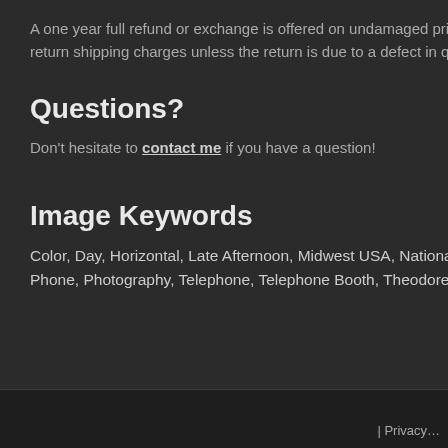A one year full refund or exchange is offered on undamaged prints. Note that w… return shipping charges unless the return is due to a defect in quality.
Questions?
Don't hesitate to contact me if you have a question!
Image Keywords
Color, Day, Horizontal, Late Afternoon, Midwest USA, National Park, Night, Nor… Phone, Photography, Telephone, Telephone Booth, Theodore Roosevelt Nation…
| Privacy…